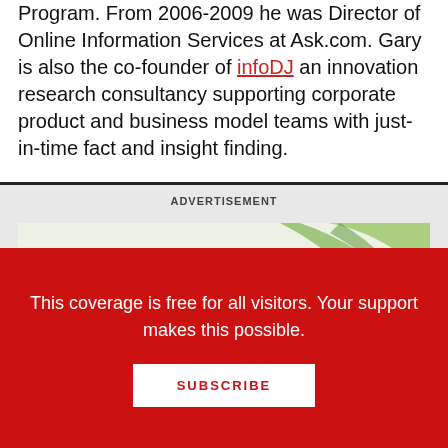Program. From 2006-2009 he was Director of Online Information Services at Ask.com. Gary is also the co-founder of infoDJ an innovation research consultancy supporting corporate product and business model teams with just-in-time fact and insight finding.
ADVERTISEMENT
[Figure (logo): LJ & SLJ Professional Development advertisement banner with green swoosh graphic and 'Crash Course' text]
This coverage is free for all visitors. Your support makes this possible.
SUBSCRIBE